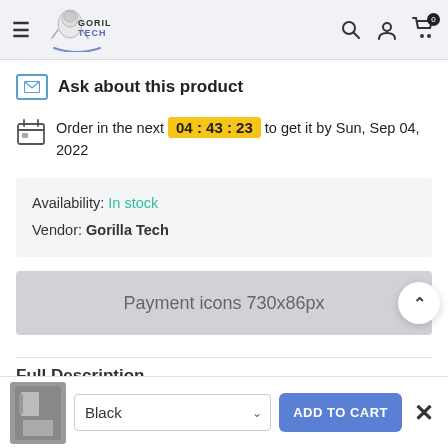Gorilla Tech — navigation header with hamburger menu, logo, search, account, and cart icons
Ask about this product
Order in the next 04 : 43 : 23 to get it by Sun, Sep 04, 2022
Availability: In stock
Vendor: Gorilla Tech
[Figure (other): Payment icons placeholder banner, 730x86px]
Full Description
Black (color selector dropdown), ADD TO CART button, close (×) button — bottom sticky bar with product thumbnail